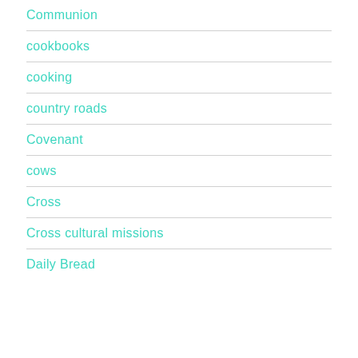Communion
cookbooks
cooking
country roads
Covenant
cows
Cross
Cross cultural missions
Daily Bread